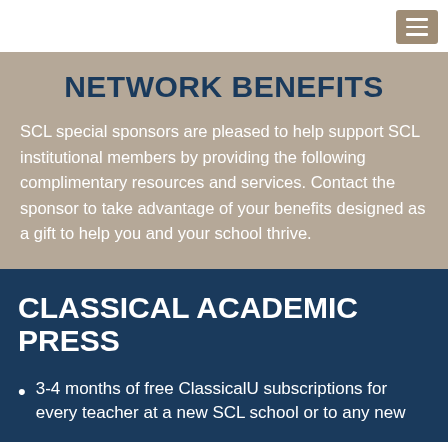NETWORK BENEFITS
SCL special sponsors are pleased to help support SCL institutional members by providing the following complimentary resources and services. Contact the sponsor to take advantage of your benefits designed as a gift to help you and your school thrive.
CLASSICAL ACADEMIC PRESS
3-4 months of free ClassicalU subscriptions for every teacher at a new SCL school or to any new